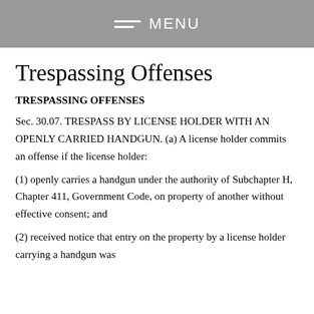MENU
Trespassing Offenses
TRESPASSING OFFENSES
Sec. 30.07. TRESPASS BY LICENSE HOLDER WITH AN OPENLY CARRIED HANDGUN. (a) A license holder commits an offense if the license holder:
(1) openly carries a handgun under the authority of Subchapter H, Chapter 411, Government Code, on property of another without effective consent; and
(2) received notice that entry on the property by a license holder carrying a handgun was...